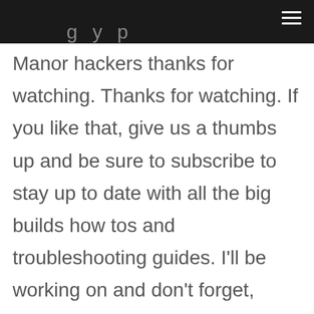g y p
Manor hackers thanks for watching. Thanks for watching. If you like that, give us a thumbs up and be sure to subscribe to stay up to date with all the big builds how tos and troubleshooting guides. I'll be working on and don't forget, check out. Mater hackers comm to explore everything 3d printing and to join the community.